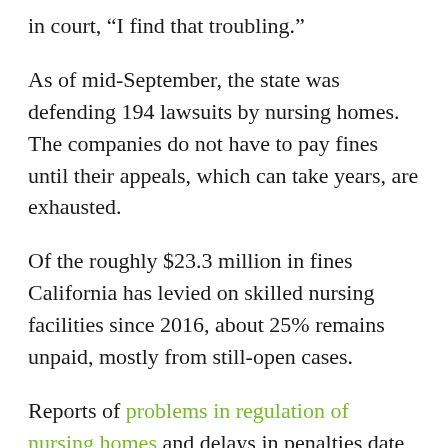in court, “I find that troubling.”
As of mid-September, the state was defending 194 lawsuits by nursing homes. The companies do not have to pay fines until their appeals, which can take years, are exhausted.
Of the roughly $23.3 million in fines California has levied on skilled nursing facilities since 2016, about 25% remains unpaid, mostly from still-open cases.
Reports of problems in regulation of nursing homes and delays in penalties date back at least several years in California.
A 2018 state audit found that the state health